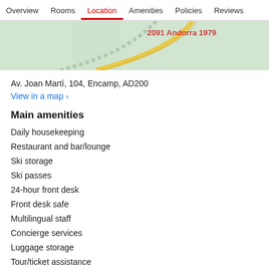Overview  Rooms  Location  Amenities  Policies  Reviews
[Figure (map): Partial map view showing a road through a green area, with red text partially visible in the top right corner.]
Av. Joan Martí, 104, Encamp, AD200
View in a map  >
Main amenities
Daily housekeeping
Restaurant and bar/lounge
Ski storage
Ski passes
24-hour front desk
Front desk safe
Multilingual staff
Concierge services
Luggage storage
Tour/ticket assistance
TV in a common area